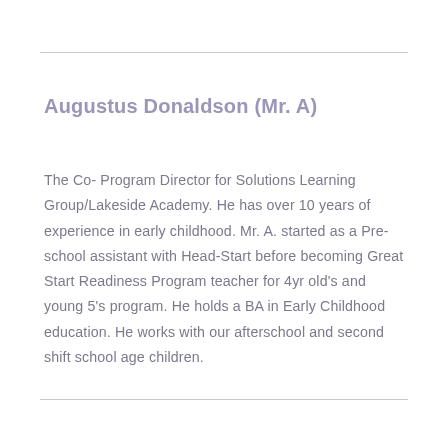Augustus Donaldson (Mr. A)
The Co- Program Director for Solutions Learning Group/Lakeside Academy. He has over 10 years of experience in early childhood. Mr. A. started as a Pre-school assistant with Head-Start before becoming Great Start Readiness Program teacher for 4yr old's and young 5's program. He holds a BA in Early Childhood education. He works with our afterschool and second shift school age children.